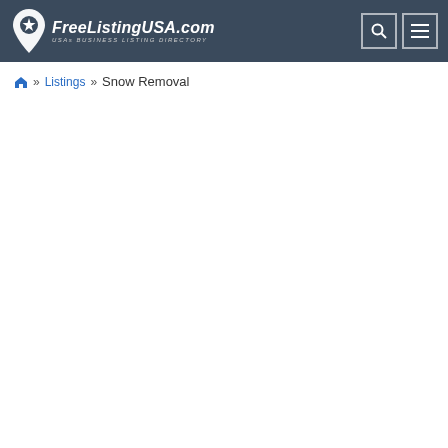[Figure (logo): FreeListingUSA.com website header with logo showing a map pin icon with a star, the text 'FreeListingUSA.com' in italic white, subtitle 'USAs BUSINESS LISTING DIRECTORY', and two icon buttons (search and menu) on the right, all on a dark blue-grey background.]
🏠 » Listings » Snow Removal